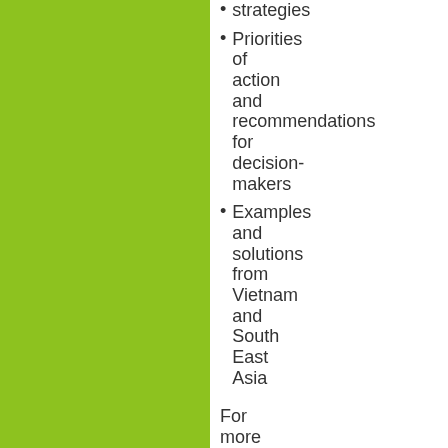strategies
Priorities of action and recommendations for decision-makers
Examples and solutions from Vietnam and South East Asia
For more background information, please consult the